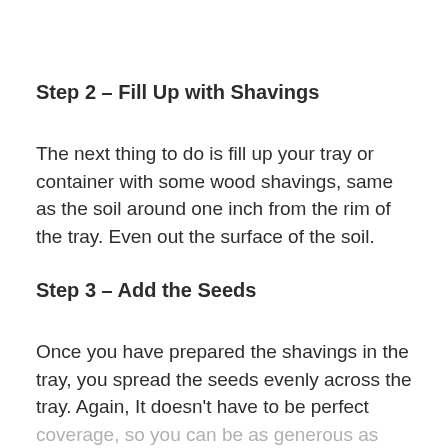Step 2 – Fill Up with Shavings
The next thing to do is fill up your tray or container with some wood shavings, same as the soil around one inch from the rim of the tray. Even out the surface of the soil.
Step 3 – Add the Seeds
Once you have prepared the shavings in the tray, you spread the seeds evenly across the tray. Again, It doesn't have to be perfect coverage, so you can be as generous as you want.